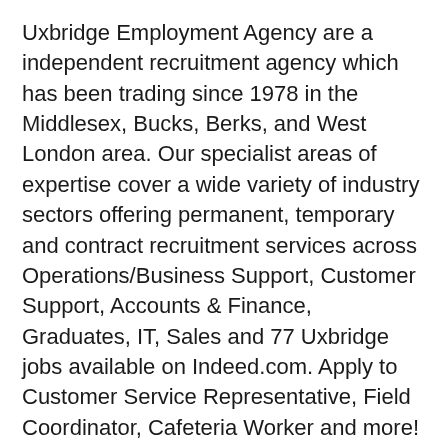Uxbridge Employment Agency are a independent recruitment agency which has been trading since 1978 in the Middlesex, Bucks, Berks, and West London area. Our specialist areas of expertise cover a wide variety of industry sectors offering permanent, temporary and contract recruitment services across Operations/Business Support, Customer Support, Accounts & Finance, Graduates, IT, Sales and 77 Uxbridge jobs available on Indeed.com. Apply to Customer Service Representative, Field Coordinator, Cafeteria Worker and more! Search It jobs in Uxbridge, England with company ratings & salaries.
Find and apply for the latest jobs in Uxbridge from New Denham to Willowbank and more in London. Town of Uxbridge, MA. 21 South Main Street